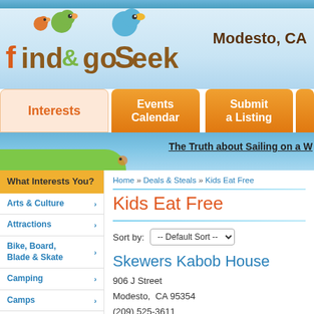[Figure (logo): Find & Go Seek website logo with cartoon birds]
Modesto, CA
Interests | Events Calendar | Submit a Listing
[Figure (illustration): Banner with blue sky, green wave, and link 'The Truth about Sailing on a W...']
What Interests You?
Arts & Culture
Attractions
Bike, Board, Blade & Skate
Camping
Camps
Child Friendly Businesses
Childcare
Home » Deals & Steals » Kids Eat Free
Kids Eat Free
Sort by: -- Default Sort --
Skewers Kabob House
906 J Street
Modesto,  CA 95354
(209) 525-3611
Ages: 0 and up